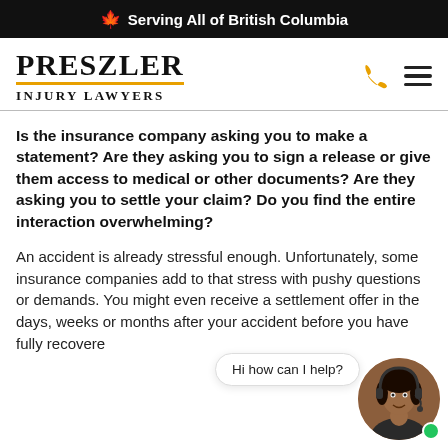🍁 Serving All of British Columbia
[Figure (logo): Preszler Injury Lawyers logo with phone and hamburger menu icons]
Is the insurance company asking you to make a statement? Are they asking you to sign a release or give them access to medical or other documents? Are they asking you to settle your claim? Do you find the entire interaction overwhelming?
An accident is already stressful enough. Unfortunately, some insurance companies add to that stress with pushy questions or demands. You might even receive a settlement offer in the days, weeks or months after your accident before you have fully recovered
[Figure (photo): Chat widget with woman wearing headset and 'Hi how can I help?' speech bubble]